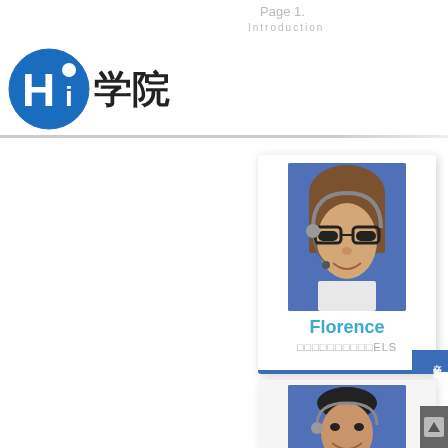Page 1
Introduction
[Figure (logo): Hi 学院 logo with blue circle containing Hi text]
[Figure (photo): Florence - female teacher wearing glasses and headset with blue background]
Florence
□□□□□□□□□□ELS
[Figure (photo): Male teacher wearing headset smiling with blue background]